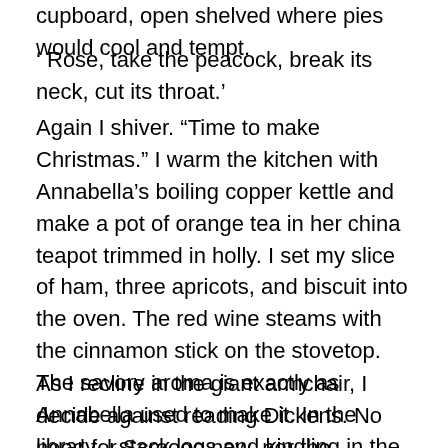cupboard, open shelved where pies would cool and tempt.
' Rose, take the peacock, break its neck, cut its throat.'
Again I shiver. “Time to make Christmas.” I warm the kitchen with Annabella’s boiling copper kettle and make a pot of orange tea in her china teapot trimmed in holly. I set my slice of ham, three apricots, and biscuit into the oven. The red wine steams with the cinnamon stick on the stovetop. The savory aroma is exactly as Annabella used to make it. In the library, I stack logs and kindling in the hearth as she did every Christmas when I was a child. Nothing like a roaring fire to set things right. For I must set things right tonight.
As I recline in the giant armchair, I decide against reading Dickens. No need for Scrooge now, nor the reminder of being arrogant and vain and stingy.  My tight-fisted hand at